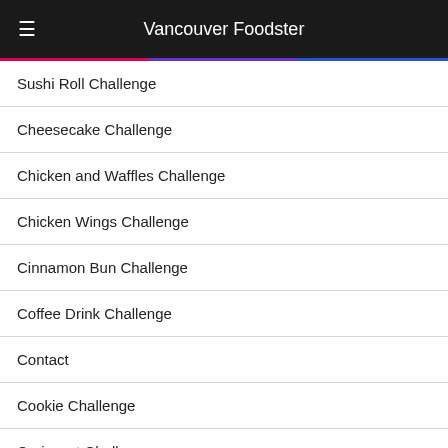Vancouver Foodster
Sushi Roll Challenge
Cheesecake Challenge
Chicken and Waffles Challenge
Chicken Wings Challenge
Cinnamon Bun Challenge
Coffee Drink Challenge
Contact
Cookie Challenge
Croissant Challenge
Curry Challenge
Donut Challenge